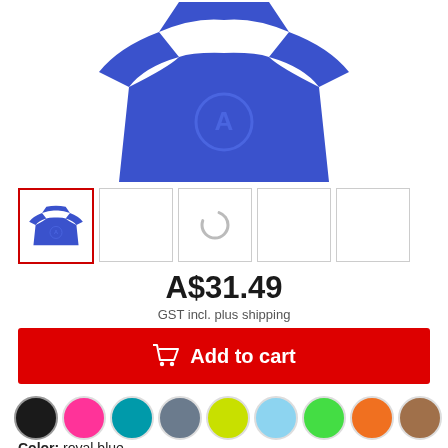[Figure (photo): Blue royal blue t-shirt product image shown from upper torso, cropped at top]
[Figure (photo): Product thumbnail gallery: 5 thumbnails, first selected with red border showing blue t-shirt, second empty, third showing spinner/loading, fourth and fifth empty]
A$31.49
GST incl. plus shipping
Add to cart
[Figure (illustration): Row of color circles: black, pink/hot pink, teal/dark cyan, slate grey, yellow-green/lime, light blue, green, orange, brown/tan]
Color: royal blue
S  M  L  XL  2XL  3XL  4XL  5...